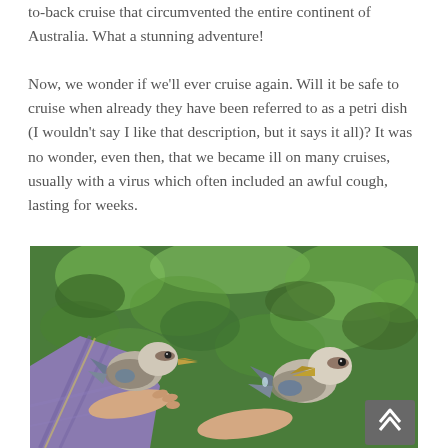to-back cruise that circumvented the entire continent of Australia. What a stunning adventure!
Now, we wonder if we'll ever cruise again. Will it be safe to cruise when already they have been referred to as a petri dish (I wouldn't say I like that description, but it says it all)? It was no wonder, even then, that we became ill on many cruises, usually with a virus which often included an awful cough, lasting for weeks.
[Figure (photo): A person holding out their hands with two kookaburra birds perched on them, set against a background of lush green foliage/trees.]